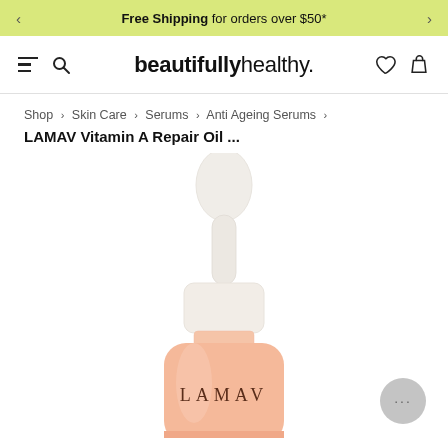Free Shipping for orders over $50*
beautifullyhealthy.
Shop > Skin Care > Serums > Anti Ageing Serums >
LAMAV Vitamin A Repair Oil ...
[Figure (photo): A peach/salmon-colored dropper bottle with a white dropper cap, branded LAMAV, photographed against a white background. The image shows the top portion of the bottle including the dropper and upper body of the bottle with the LAMAV text visible.]